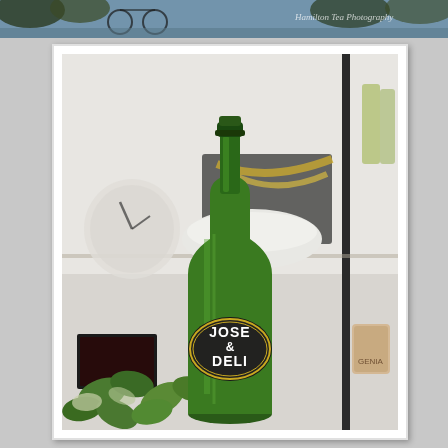[Figure (photo): Top banner strip showing a street scene with bicycles and a watermark reading 'Hamilton Tea Photography']
[Figure (photo): A green wine bottle with a dark oval label reading 'JOSE & DELI' in white text, surrounded by ivy plants, gift boxes with gold ribbon, a white bowl, and various items on a shelf in a deli or floral shop setting]